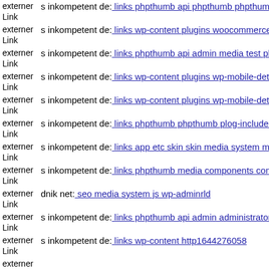externer Link s inkompetent de: links phpthumb api phpthumb phpthumb
externer Link s inkompetent de: links wp-content plugins woocommerce-
externer Link s inkompetent de: links phpthumb api admin media test php
externer Link s inkompetent de: links wp-content plugins wp-mobile-dete
externer Link s inkompetent de: links wp-content plugins wp-mobile-dete
externer Link s inkompetent de: links phpthumb phpthumb plog-includes
externer Link s inkompetent de: links app etc skin skin media system mai
externer Link s inkompetent de: links phpthumb media components com a
externer Link dnik net: seo media system js wp-adminrld
externer Link s inkompetent de: links phpthumb api admin administrator e
externer Link s inkompetent de: links wp-content http1644276058
externer Link